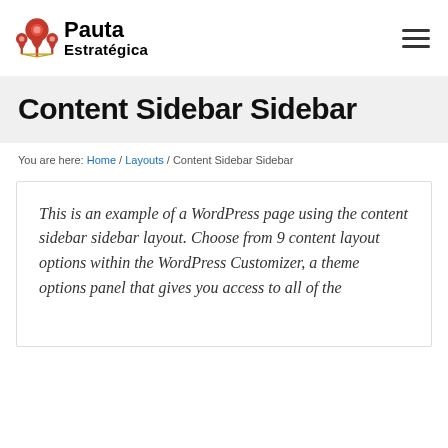[Figure (logo): Pauta Estratégica logo with red location pin icons and black text]
Content Sidebar Sidebar
You are here: Home / Layouts / Content Sidebar Sidebar
This is an example of a WordPress page using the content sidebar sidebar layout. Choose from 9 content layout options within the WordPress Customizer, a theme options panel that gives you access to all of the